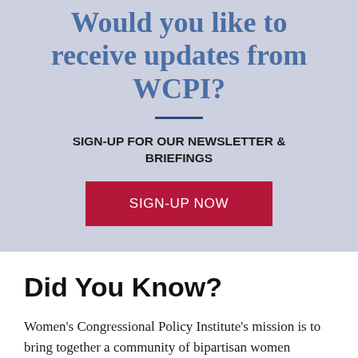Would you like to receive updates from WCPI?
SIGN-UP FOR OUR NEWSLETTER & BRIEFINGS
SIGN-UP NOW
Did You Know?
Women's Congressional Policy Institute's mission is to bring together a community of bipartisan women policymakers and trusted